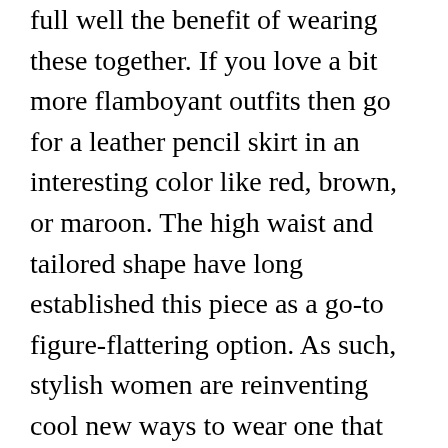full well the benefit of wearing these together. If you love a bit more flamboyant outfits then go for a leather pencil skirt in an interesting color like red, brown, or maroon. The high waist and tailored shape have long established this piece as a go-to figure-flattering option. As such, stylish women are reinventing cool new ways to wear one that has us giving the garment a second glance. Pencil skirts don't just have to be for the spring and summer, even the winter can take this style on! Yes, you can wear a peplum top with a pencil skirt! Another great summer pencil skirt version is one with a flounce. Knee length or 1/2 above the knee. I have this hot pink pencil skirt and I was